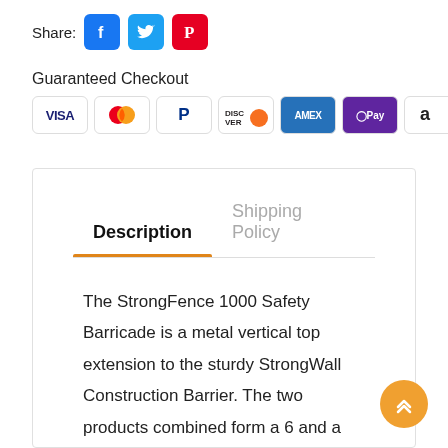Share:
[Figure (infographic): Social share icons: Facebook (blue square with f), Twitter (blue square with bird), Pinterest (red square with P)]
Guaranteed Checkout
[Figure (infographic): Payment method badges: VISA, Mastercard, PayPal, Discover, AMEX, GPay/OPay, Amazon Pay]
Description
Shipping Policy
The StrongFence 1000 Safety Barricade is a metal vertical top extension to the sturdy StrongWall Construction Barrier. The two products combined form a 6 and a half foot anti-climb barrier, useful for separating pedestrians and workers from areas with